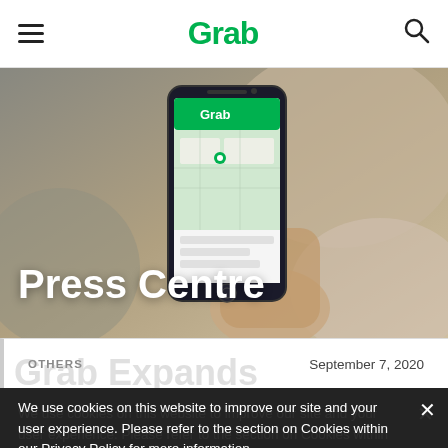Grab — Navigation bar with hamburger menu, Grab logo, and search icon
[Figure (screenshot): Hero image showing a hand holding a smartphone with the Grab app open displaying a map, on a blurred background]
Press Centre
OTHERS    September 7, 2020
We use cookies on this website to improve our site and your user experience. Please refer to the section on Cookies within our Privacy Policy for more information.

Kami menggunakan kuki pada laman web ini untuk memperbaiki taraf laman web kami dan pengalaman pengguna anda. Sila rujuk kepada bahagian Kuki dalam Dasar Privasi kami untuk maklumat lebih lanjut.